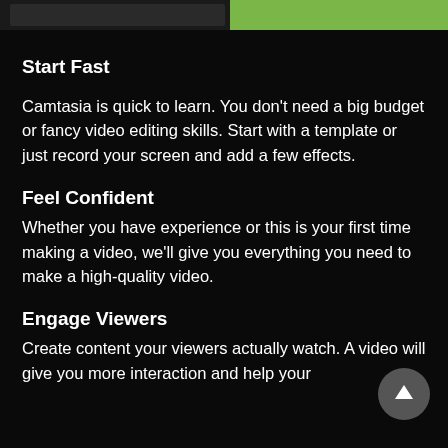[Figure (screenshot): Top portion of a video/screenshot showing a dark background with a green banner element visible at the top]
Start Fast
Camtasia is quick to learn. You don't need a big budget or fancy video editing skills. Start with a template or just record your screen and add a few effects.
Feel Confident
Whether you have experience or this is your first time making a video, we'll give you everything you need to make a high-quality video.
Engage Viewers
Create content your viewers actually watch. A video will give you more interaction and help your